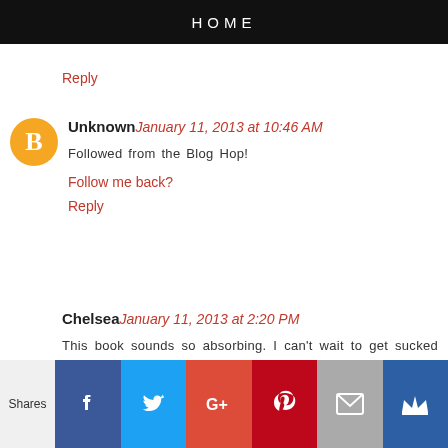HOME
Reply
Unknown January 11, 2013 at 10:46 AM
Followed from the Blog Hop!
Follow me back?
Reply
Chelsea January 11, 2013 at 2:20 PM
This book sounds so absorbing. I can't wait to get sucked into it!
justforswag(AT)yahoo(DOT)com
Reply
[Figure (infographic): Social sharing bar with Facebook, Twitter, Google+, Pinterest, Email, and Crown icons]